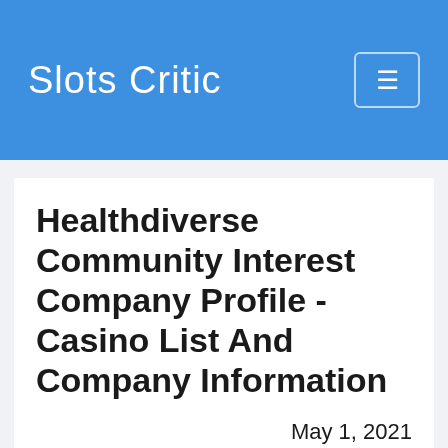Slots Critic
Healthdiverse Community Interest Company Profile - Casino List And Company Information
May 1, 2021
Casino Profile
In this article you'll find information